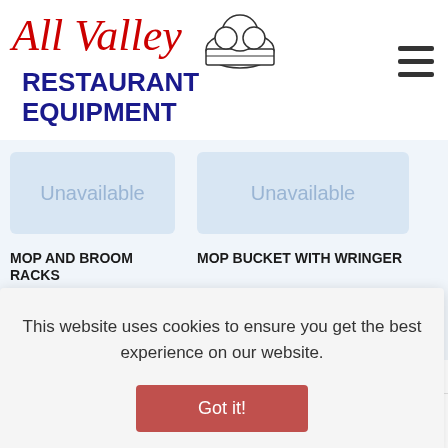[Figure (logo): All Valley Restaurant Equipment logo with cursive red 'All Valley' text, chef hat illustration, and bold dark blue 'RESTAURANT EQUIPMENT' text]
[Figure (other): Two product placeholder boxes showing 'Unavailable' in blue-gray text, with product labels 'MOP AND BROOM RACKS' and 'MOP BUCKET WITH WRINGER' below]
This website uses cookies to ensure you get the best experience on our website.
Got it!
[Figure (other): Bottom navigation bar with search icon, red 'REQUEST A QUOTE' button with blue arrow, and up-arrow icon]